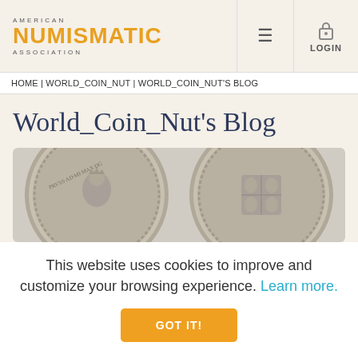AMERICAN NUMISMATIC ASSOCIATION | LOGIN
HOME | WORLD_COIN_NUT | WORLD_COIN_NUT'S BLOG
World_Coin_Nut's Blog
[Figure (photo): Two silver coins shown side by side: left coin shows a crowned figure with Latin inscription 'PRVSS AD MI MAX DG', right coin shows a coat of arms with decorative details]
This website uses cookies to improve and customize your browsing experience. Learn more.
GOT IT!